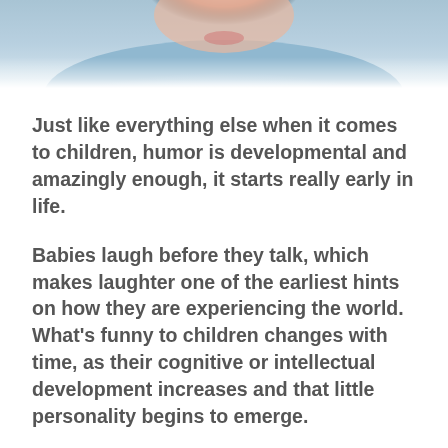[Figure (photo): Close-up photo of a child's smiling face, partially cropped at top of page, with light blue background]
Just like everything else when it comes to children, humor is developmental and amazingly enough, it starts really early in life.
Babies laugh before they talk, which makes laughter one of the earliest hints on how they are experiencing the world.  What’s funny to children changes with time, as their cognitive or intellectual development increases and that little personality begins to emerge.